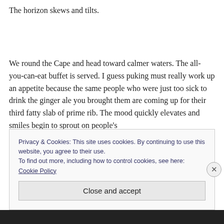The horizon skews and tilts.
We round the Cape and head toward calmer waters. The all-you-can-eat buffet is served. I guess puking must really work up an appetite because the same people who were just too sick to drink the ginger ale you brought them are coming up for their third fatty slab of prime rib. The mood quickly elevates and smiles begin to sprout on people's
Privacy & Cookies: This site uses cookies. By continuing to use this website, you agree to their use.
To find out more, including how to control cookies, see here: Cookie Policy
Close and accept